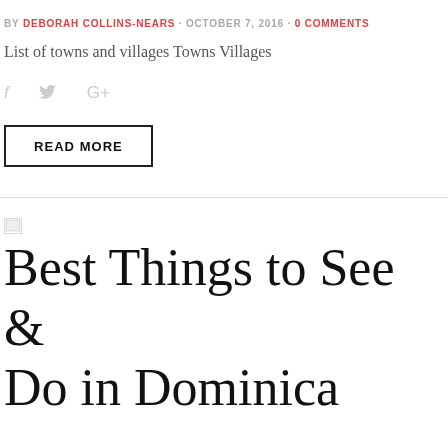BY DEBORAH COLLINS-NEARS · OCTOBER 7, 2016 · 0 COMMENTS
List of towns and villages Towns Villages
[Figure (other): Social share icons: f (Facebook), bird (Twitter), G+ (Google Plus) in light gray]
READ MORE
Best Things to See & Do in Dominica